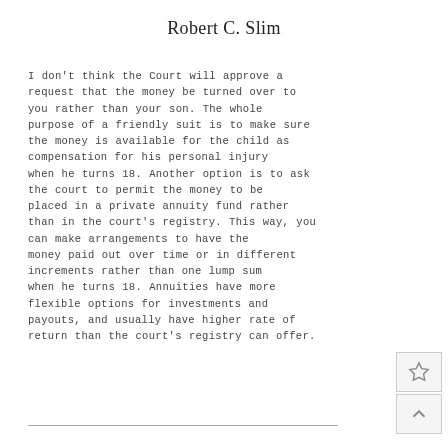Robert C. Slim
I don't think the Court will approve a request that the money be turned over to you rather than your son. The whole purpose of a friendly suit is to make sure the money is available for the child as compensation for his personal injury when he turns 18. Another option is to ask the court to permit the money to be placed in a private annuity fund rather than in the court's registry. This way, you can make arrangements to have the money paid out over time or in different increments rather than one lump sum when he turns 18. Annuities have more flexible options for investments and payouts, and usually have higher rate of return than the court's registry can offer.